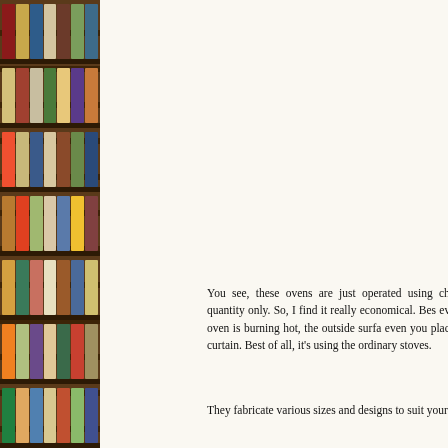[Figure (photo): A roasted animal (likely a whole roasted pig or similar) on a metal grill rack inside what appears to be a charcoal oven or smoker. The oven has multiple metal grate shelves visible. The cooked animal is browned and glistening.]
You see, these ovens are just operated using charcoals of minimal quantity only. So, I find it really economical. Best, even the inside of the oven is burning hot, the outside surface even you place the oven near the curtain. Best of all, it's using the ordinary stoves.
They fabricate various sizes and designs to suit your needs